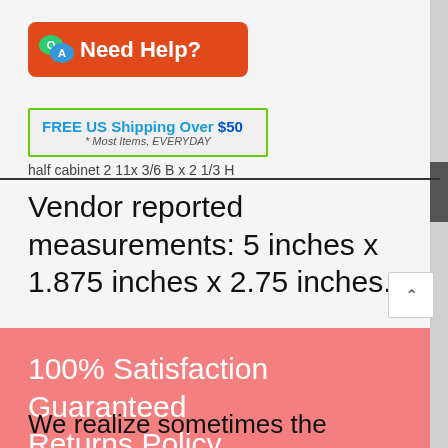[Figure (logo): Red rounded rectangle banner with Q and A speech bubbles icon and text 'Need Help?']
[Figure (infographic): Green-bordered box with text 'FREE US Shipping Over $50' and '* Most Items, EVERYDAY']
half cabinet 2 11x 3/6 B x 2 1/3 H
Vendor reported measurements: 5 inches x 1.875 inches x 2.75 inches.
100% Satisfaction Guaranteed Returns Policy
We realize sometimes the miniatures you order are the wrong color, size or just not quite right for your dollhouse